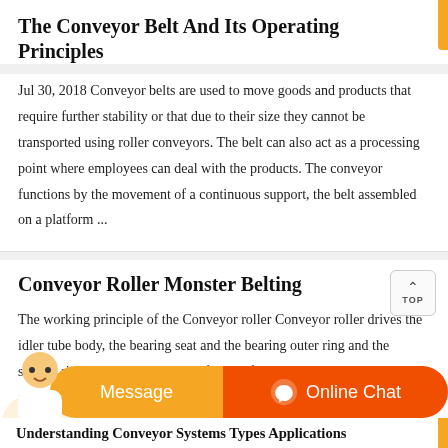The Conveyor Belt And Its Operating Principles
Jul 30, 2018 Conveyor belts are used to move goods and products that require further stability or that due to their size they cannot be transported using roller conveyors. The belt can also act as a processing point where employees can deal with the products. The conveyor functions by the movement of a continuous support, the belt assembled on a platform ...
Conveyor Roller Monster Belting
The working principle of the Conveyor roller Conveyor roller drives the idler tube body, the bearing seat and the bearing outer ring and the sealing ring to rotate through the friction force between the conveyor belt and the supporting roller, so as to realize the transportation of the logistics with the conveyor belt.
Understanding Conveyor Systems Types Applications